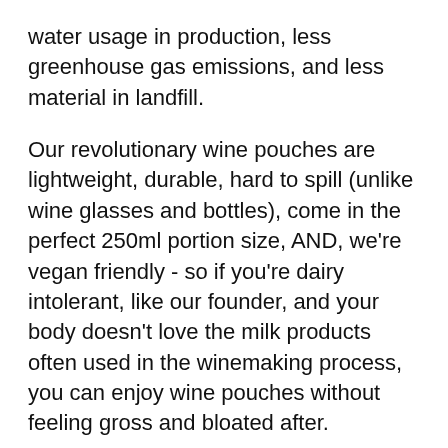water usage in production, less greenhouse gas emissions, and less material in landfill.
Our revolutionary wine pouches are lightweight, durable, hard to spill (unlike wine glasses and bottles), come in the perfect 250ml portion size, AND, we're vegan friendly - so if you're dairy intolerant, like our founder, and your body doesn't love the milk products often used in the winemaking process, you can enjoy wine pouches without feeling gross and bloated after.
When we tested our prototype last year, we sold out our entire collection in under 24 hours, replaced them all, and sold out AGAIN.